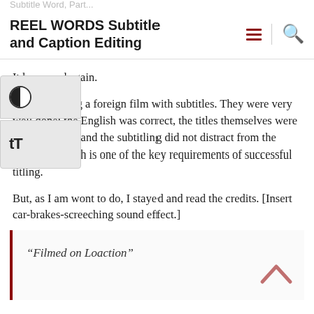Subtitle Word, Part...
REEL WORDS Subtitle and Caption Editing
It happened again.
I was watching a foreign film with subtitles. They were very well done: the English was correct, the titles themselves were very readable, and the subtitling did not distract from the content—which is one of the key requirements of successful titling.
But, as I am wont to do, I stayed and read the credits. [Insert car-brakes-screeching sound effect.]
“Filmed on Loaction”